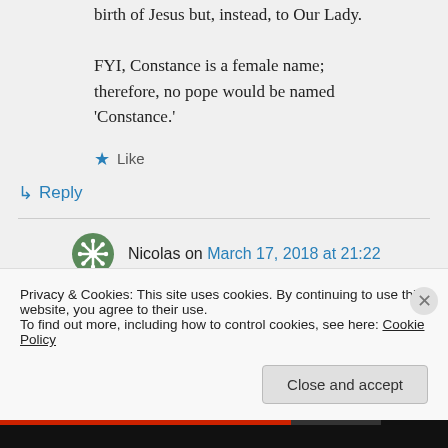birth of Jesus but, instead, to Our Lady.

FYI, Constance is a female name; therefore, no pope would be named 'Constance.'
★ Like
↳ Reply
Nicolas on March 17, 2018 at 21:22
Privacy & Cookies: This site uses cookies. By continuing to use this website, you agree to their use.
To find out more, including how to control cookies, see here: Cookie Policy